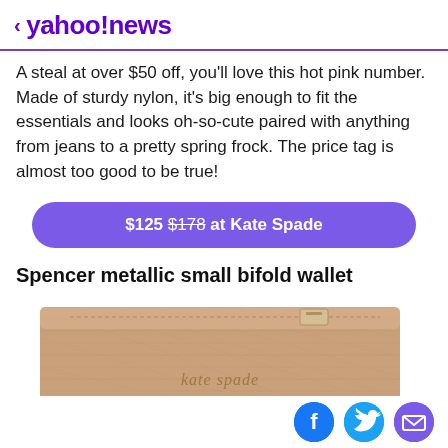< yahoo!news
A steal at over $50 off, you'll love this hot pink number. Made of sturdy nylon, it's big enough to fit the essentials and looks oh-so-cute paired with anything from jeans to a pretty spring frock. The price tag is almost too good to be true!
$125 $178 at Kate Spade
Spencer metallic small bifold wallet
[Figure (photo): Rose gold metallic Kate Spade bifold wallet with zipper and embossed logo]
Social share icons: Facebook, Twitter, Email